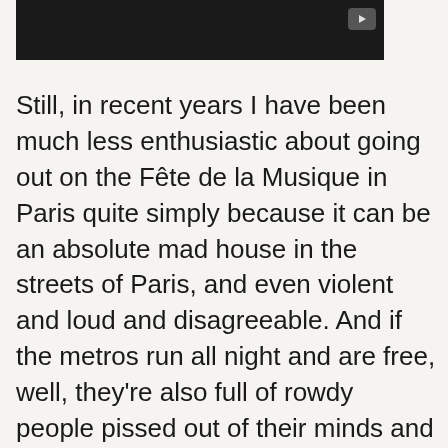[Figure (screenshot): Dark video player bar with a play button in the top-right corner]
Still, in recent years I have been much less enthusiastic about going out on the Fête de la Musique in Paris quite simply because it can be an absolute mad house in the streets of Paris, and even violent and loud and disagreeable. And if the metros run all night and are free, well, they're also full of rowdy people pissed out of their minds and carrying a guitar on your back – as I always do – makes you stand out even more, oddly enough, than you usually